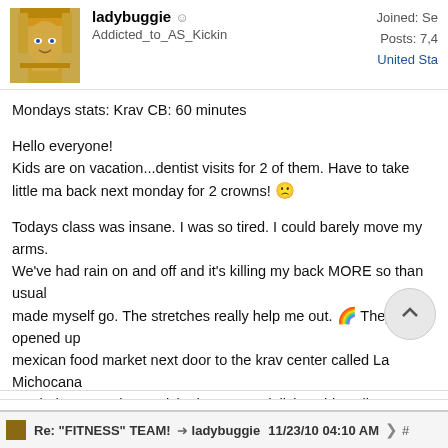ladybuggie | Addicted_to_AS_Kickin | Joined: Se... | Posts: 7,4... | United Sta...
Mondays stats: Krav CB: 60 minutes
Hello everyone!
Kids are on vacation...dentist visits for 2 of them. Have to take little ma back next monday for 2 crowns! 🙁
Todays class was insane. I was so tired. I could barely move my arms. We've had rain on and off and it's killing my back MORE so than usual made myself go. The stretches really help me out. 🌈 They opened up mexican food market next door to the krav center called La Michocana mosied on over there! Picked up some delicious big yellow apples, ora bananas, and avocados. 🌈 They had mini street tacos that are double corn tortillas with your choice of goodie. But Buggie was strong and stu her fruit...for now!! muahahha!! GOod night everyone!! 🎉
Re: "FITNESS" TEAM! | ladybuggie | 11/23/10 04:10 AM | #